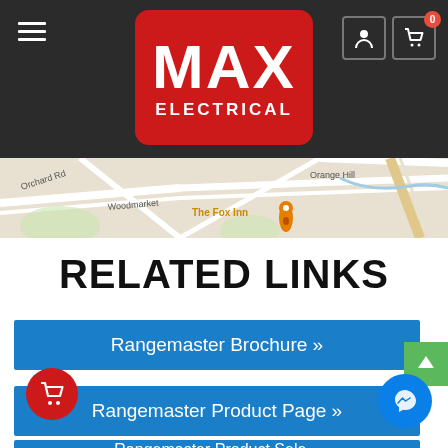[Figure (logo): Max Electrical logo — white MAX text and ELECTRICAL text on red rounded rectangle, on dark grey header background]
[Figure (map): Street map snippet showing Orchard Rd, Woodmarket, The Fox Inn with orange pin marker, Orange Hill area]
RELATED LINKS
Rangemaster Brochure »
Rangemaster Product Page »
Rangemaster Product Sele... (partial, cut off)